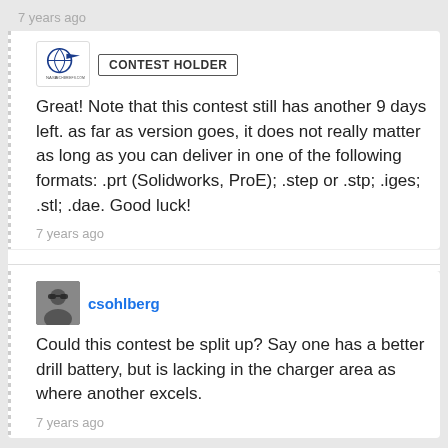7 years ago
CONTEST HOLDER
Great! Note that this contest still has another 9 days left. as far as version goes, it does not really matter as long as you can deliver in one of the following formats: .prt (Solidworks, ProE); .step or .stp; .iges; .stl; .dae. Good luck!
7 years ago
csohlberg
Could this contest be split up? Say one has a better drill battery, but is lacking in the charger area as where another excels.
7 years ago